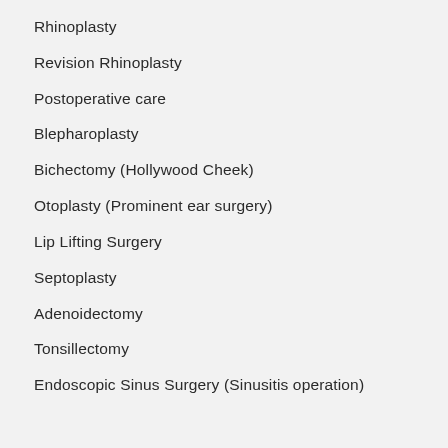Rhinoplasty
Revision Rhinoplasty
Postoperative care
Blepharoplasty
Bichectomy (Hollywood Cheek)
Otoplasty (Prominent ear surgery)
Lip Lifting Surgery
Septoplasty
Adenoidectomy
Tonsillectomy
Endoscopic Sinus Surgery (Sinusitis operation)